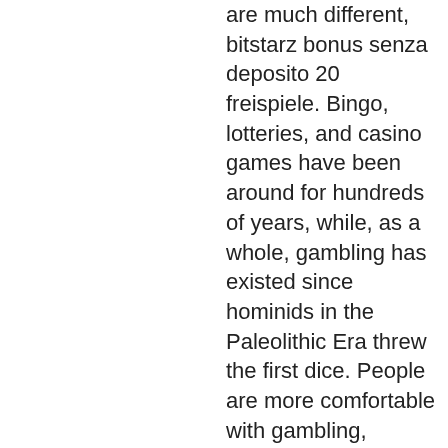are much different, bitstarz bonus senza deposito 20 freispiele. Bingo, lotteries, and casino games have been around for hundreds of years, while, as a whole, gambling has existed since hominids in the Paleolithic Era threw the first dice. People are more comfortable with gambling, bitstarz bonus senza deposito 20 zatočení zdarma. Once you have your Bitcoin Cash, you can keep it on the exchange where you bought it, or you can move it to another exchange of your liking. You can also put your crypto into a Bitcoin Cash wallet, taking it off the exchanges completely, bitstarz bonus ohne einzahlung. You will find that the vast majority of crypto betting sites offer something called a 'welcome package', bitstarz bonus code tiradas gratis. If you're familiar with how traditional gambling sites work ' then you'll likely already know that this is a bonus offered